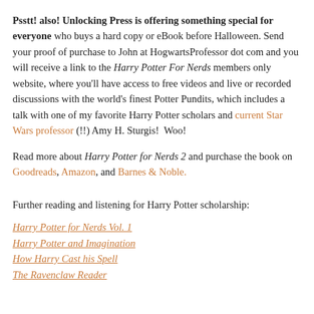Psstt! also! Unlocking Press is offering something special for everyone who buys a hard copy or eBook before Halloween. Send your proof of purchase to John at HogwartsProfessor dot com and you will receive a link to the Harry Potter For Nerds members only website, where you'll have access to free videos and live or recorded discussions with the world's finest Potter Pundits, which includes a talk with one of my favorite Harry Potter scholars and current Star Wars professor (!!) Amy H. Sturgis!  Woo!
Read more about Harry Potter for Nerds 2 and purchase the book on Goodreads, Amazon, and Barnes & Noble.
Further reading and listening for Harry Potter scholarship:
Harry Potter for Nerds Vol. 1
Harry Potter and Imagination
How Harry Cast his Spell
The Ravenclaw Reader